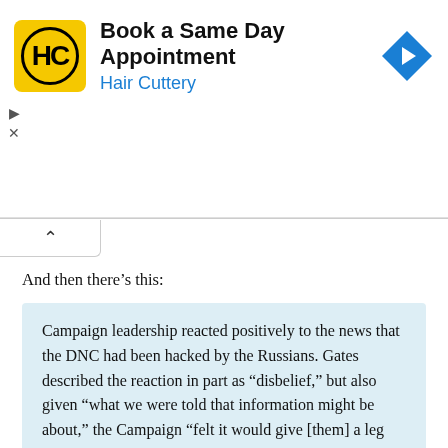[Figure (screenshot): Hair Cuttery advertisement banner: yellow square logo with HC initials in circle, headline 'Book a Same Day Appointment', subline 'Hair Cuttery' in blue, blue diamond navigation icon on right. Ad controls (play/close) on left.]
And then there's this:
Campaign leadership reacted positively to the news that the DNC had been hacked by the Russians. Gates described the reaction in part as "disbelief," but also given "what we were told that information might be about," the Campaign "felt it would give [them] a leg up" if released.
And campaign officials made sure they were well positioned to take full advantage of the fruits of the Russian hacking: The campaign planned a "press strategy, a communications campaign, and messaging